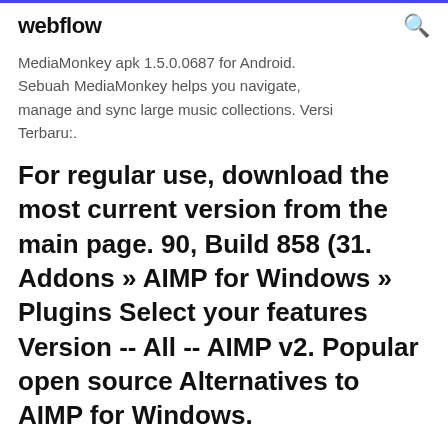webflow
MediaMonkey apk 1.5.0.0687 for Android. Sebuah MediaMonkey helps you navigate, manage and sync large music collections. Versi Terbaru:.
For regular use, download the most current version from the main page. 90, Build 858 (31. Addons » AIMP for Windows » Plugins Select your features Version -- All -- AIMP v2. Popular open source Alternatives to AIMP for Windows.